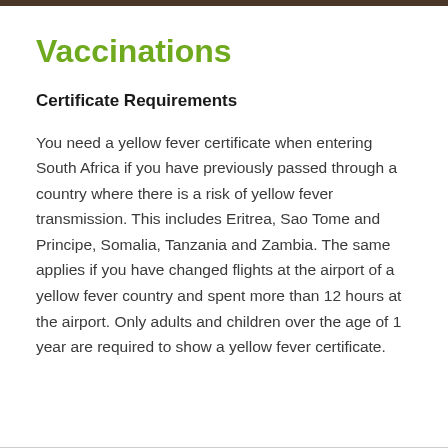Vaccinations
Certificate Requirements
You need a yellow fever certificate when entering South Africa if you have previously passed through a country where there is a risk of yellow fever transmission. This includes Eritrea, Sao Tome and Principe, Somalia, Tanzania and Zambia. The same applies if you have changed flights at the airport of a yellow fever country and spent more than 12 hours at the airport. Only adults and children over the age of 1 year are required to show a yellow fever certificate.